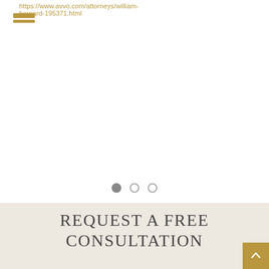https://www.avvo.com/attorneys/william-bernard-195371.html
[Figure (other): Hamburger menu icon with three gold horizontal bars]
[Figure (other): Slider navigation dots: one filled gray, two outlined gray circles]
REQUEST A FREE CONSULTATION